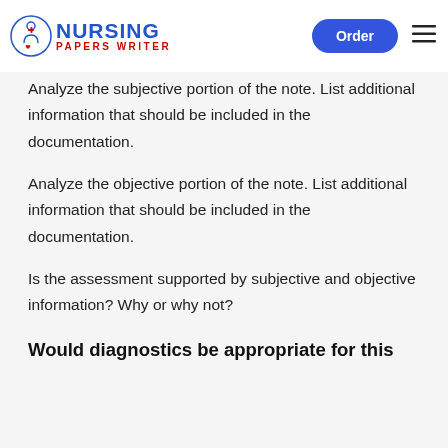NURSING Papers Writer — Order
Diagnostics Using evidence-based resources from your … following … and support your answers using current evidence from the literature.
Analyze the subjective portion of the note. List additional information that should be included in the documentation.
Analyze the objective portion of the note. List additional information that should be included in the documentation.
Is the assessment supported by subjective and objective information? Why or why not?
Would diagnostics be appropriate for this